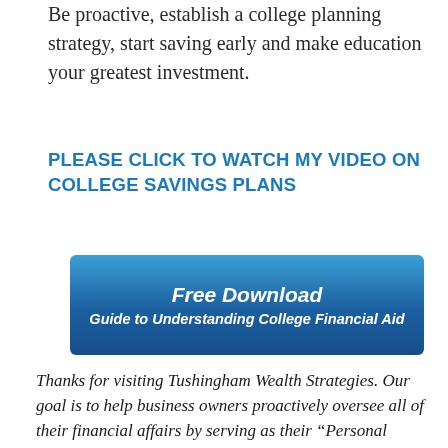Be proactive, establish a college planning strategy, start saving early and make education your greatest investment.
PLEASE CLICK TO WATCH MY VIDEO ON COLLEGE SAVINGS PLANS
[Figure (other): Blue gradient banner button with text 'Free Download' and 'Guide to Understanding College Financial Aid']
Thanks for visiting Tushingham Wealth Strategies. Our goal is to help business owners proactively oversee all of their financial affairs by serving as their “Personal CFO” and fiduciary, so that they may live their ideal life worry-free. As part of our "Personal CFO"